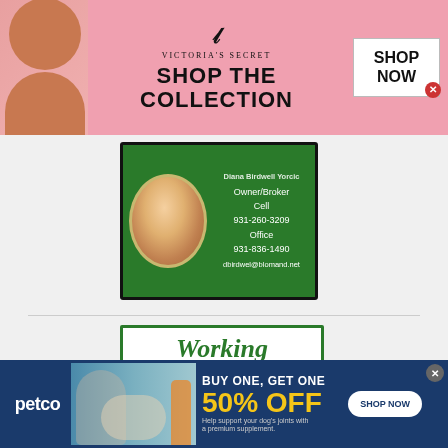[Figure (photo): Victoria's Secret advertisement banner with model, logo, 'SHOP THE COLLECTION' text and 'SHOP NOW' button]
[Figure (photo): Real estate agent business card with green background, agent photo, Owner/Broker title, phone numbers 931-260-3209 (Cell) and 931-836-1490 (Office), email dbirdwel@blomand.net]
[Figure (photo): Real estate advertisement card with 'Working for you' italic green text and group photo of team members]
[Figure (photo): Petco advertisement banner with 'BUY ONE, GET ONE 50% OFF' offer and 'SHOP NOW' button]